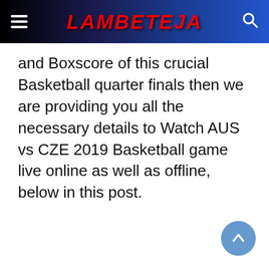LAMBETEJA
and Boxscore of this crucial Basketball quarter finals then we are providing you all the necessary details to Watch AUS vs CZE 2019 Basketball game live online as well as offline, below in this post.